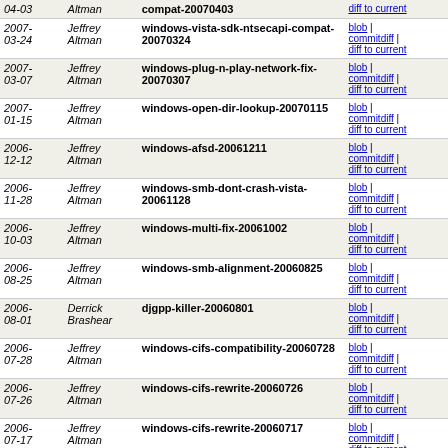| Date | Author | Tag | Links |
| --- | --- | --- | --- |
| 2007-03-24 | Jeffrey Altman | windows-vista-sdk-ntsecapi-compat-20070324 | blob | commitdiff | diff to current |
| 2007-03-07 | Jeffrey Altman | windows-plug-n-play-network-fix-20070307 | blob | commitdiff | diff to current |
| 2007-01-15 | Jeffrey Altman | windows-open-dir-lookup-20070115 | blob | commitdiff | diff to current |
| 2006-12-12 | Jeffrey Altman | windows-afsd-20061211 | blob | commitdiff | diff to current |
| 2006-11-28 | Jeffrey Altman | windows-smb-dont-crash-vista-20061128 | blob | commitdiff | diff to current |
| 2006-10-03 | Jeffrey Altman | windows-multi-fix-20061002 | blob | commitdiff | diff to current |
| 2006-08-25 | Jeffrey Altman | windows-smb-alignment-20060825 | blob | commitdiff | diff to current |
| 2006-08-01 | Derrick Brashear | djgpp-killer-20060801 | blob | commitdiff | diff to current |
| 2006-07-28 | Jeffrey Altman | windows-cifs-compatibility-20060728 | blob | commitdiff | diff to current |
| 2006-07-26 | Jeffrey Altman | windows-cifs-rewrite-20060726 | blob | commitdiff | diff to current |
| 2006-07-17 | Jeffrey Altman | windows-cifs-rewrite-20060717 | blob | commitdiff | diff to current |
| 2006-07-04 | Jeffrey Altman | windows-cifs-20060704 | blob | commitdiff | diff to current |
| 2006-06-27 | Jeffrey Altman | windows-cleanup-20060627 | blob | commitdiff | diff to current |